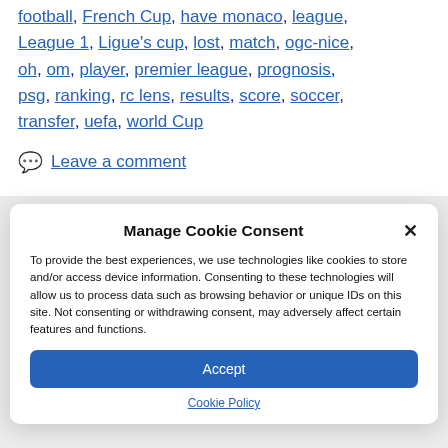football, French Cup, have monaco, league, League 1, Ligue's cup, lost, match, ogc-nice, oh, om, player, premier league, prognosis, psg, ranking, rc lens, results, score, soccer, transfer, uefa, world Cup
Leave a comment
Manage Cookie Consent
To provide the best experiences, we use technologies like cookies to store and/or access device information. Consenting to these technologies will allow us to process data such as browsing behavior or unique IDs on this site. Not consenting or withdrawing consent, may adversely affect certain features and functions.
Accept
Cookie Policy